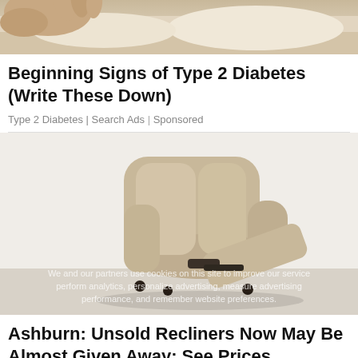[Figure (illustration): Top portion of an illustration showing a person's hand or feet near a bed, cartoon/drawing style, partial crop at top of page]
Beginning Signs of Type 2 Diabetes (Write These Down)
Type 2 Diabetes | Search Ads | Sponsored
[Figure (photo): A beige/cream upholstered recliner chair with footrest extended, photographed against a light background. Overlay text reads: We and our partners use cookies on this site to improve our service perform analytics, personalize advertising, measure advertising performance, and remember website preferences.]
Ashburn: Unsold Recliners Now May Be Almost Given Away: See Prices